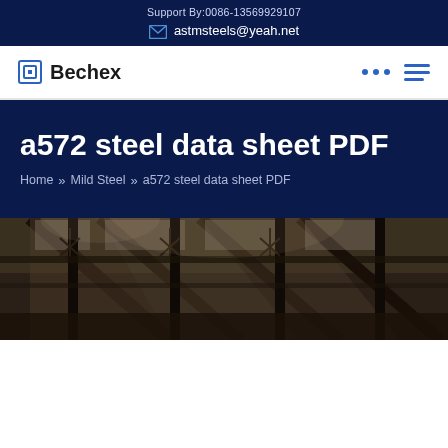Support By:0086-13569929107
astmsteels@yeah.net
Bechex
a572 steel data sheet PDF
Home » Mild Steel » a572 steel data sheet PDF
[Figure (photo): Industrial steel factory interior with structural beams and roof trusses, dark warehouse setting]